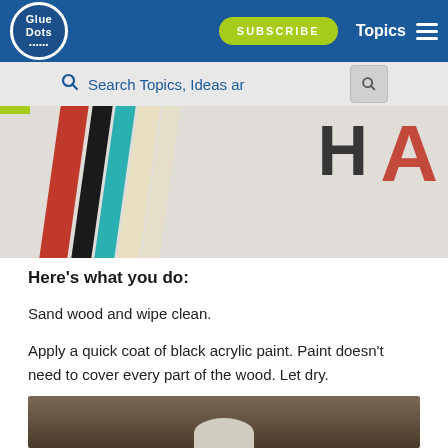Glue Dots | SUBSCRIBE | Topics
[Figure (screenshot): Website search bar with magnifying glass icon and placeholder text 'Search Topics, Ideas ar']
[Figure (photo): Close-up photo of colorful diagonal stripes (red, black, teal, cream) and large letters on a craft project board]
Here's what you do:
Sand wood and wipe clean.
Apply a quick coat of black acrylic paint. Paint doesn't need to cover every part of the wood. Let dry.
[Figure (photo): Bottom portion of photo showing a paint bottle cap on a dark wooden surface]